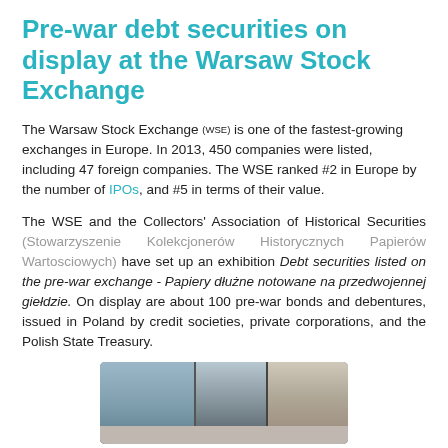Pre-war debt securities on display at the Warsaw Stock Exchange
The Warsaw Stock Exchange (WSE) is one of the fastest-growing exchanges in Europe. In 2013, 450 companies were listed, including 47 foreign companies. The WSE ranked #2 in Europe by the number of IPOs, and #5 in terms of their value.
The WSE and the Collectors' Association of Historical Securities (Stowarzyszenie Kolekcjonerów Historycznych Papierów Wartosciowych) have set up an exhibition Debt securities listed on the pre-war exchange - Papiery dłużne notowane na przedwojennej giełdzie. On display are about 100 pre-war bonds and debentures, issued in Poland by credit societies, private corporations, and the Polish State Treasury.
[Figure (photo): Interior photo of the Warsaw Stock Exchange building showing a corridor/entrance area with people visible.]